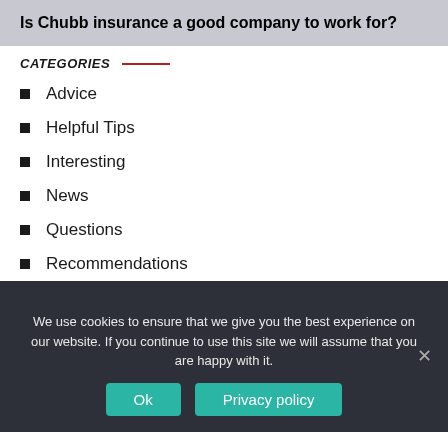Is Chubb insurance a good company to work for?
CATEGORIES
Advice
Helpful Tips
Interesting
News
Questions
Recommendations
We use cookies to ensure that we give you the best experience on our website. If you continue to use this site we will assume that you are happy with it.
Ok | Privacy policy